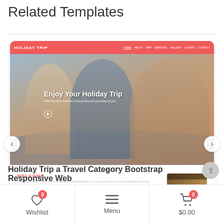Related Templates
[Figure (screenshot): Screenshot of a travel website template called 'Holiday Trip' with a red navbar, hero image showing group of friends, carousel navigation arrows, About section with Welcome text and a photo, and a scroll-to-top button.]
Holiday Trip a Travel Category Bootstrap Responsive Web
[Figure (screenshot): Mobile app bottom navigation bar with Wishlist (heart icon, badge 0), Menu (hamburger icon), and Cart ($0.00, badge 0) sections.]